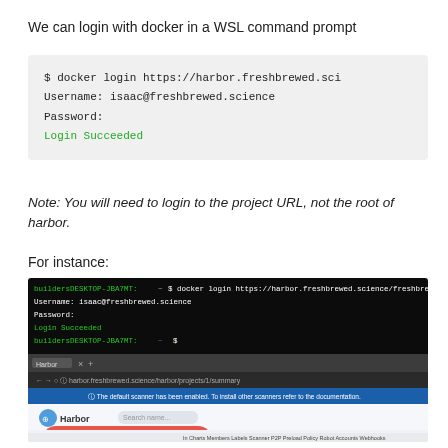We can login with docker in a WSL command prompt
[Figure (screenshot): Terminal screenshot showing: $ docker login https://harbor.freshbrewed.sci / Username: isaac@freshbrewed.science / Password: / Login Succeeded]
Note: You will need to login to the project URL, not the root of harbor.
For instance:
[Figure (screenshot): Screenshot of WSL terminal and Harbor browser UI showing docker login to https://harbor.freshbrewed.science/freshbrewedprivate with Login Succeeded, and Harbor web interface with a Tip a Coffee button overlay]